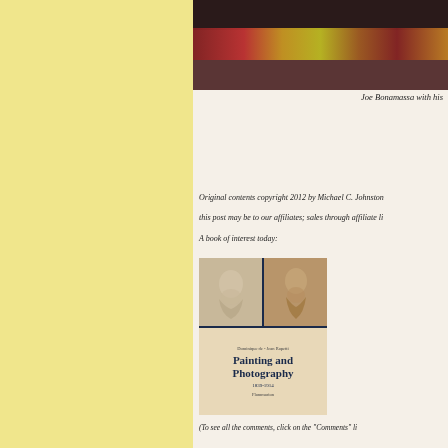[Figure (photo): Row of electric guitars displayed in a music store or studio, photographed from the front. Multiple colorful guitars including red, gold, and natural finish Les Paul style guitars on stands or hanging.]
Joe Bonamassa with his
Original contents copyright 2012 by Michael C. Johnston
this post may be to our affiliates; sales through affiliate li
A book of interest today:
[Figure (photo): Book cover of 'Painting and Photography 1839-1914' by Flammarion. Dark navy cover with two black and white photographic/painted images of crouching nude figures side by side at the top. Title text is bold white on the lower portion.]
(To see all the comments, click on the "Comments" li